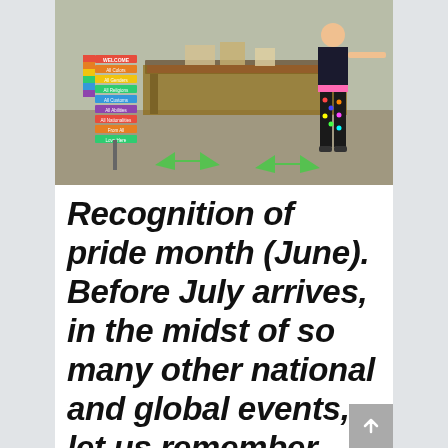[Figure (photo): Outdoor pride event setup with a rainbow-colored welcome sign listing various categories (All Colors, All Backgrounds, All Genders, All Abilities, etc.), a table draped with a colorful cloth, and a person standing to the right wearing a colorful top and patterned pants. Green spray-painted arrows on the ground point toward the table.]
Recognition of pride month (June). Before July arrives, in the midst of so many other national and global events, let us remember and celebrate Pride